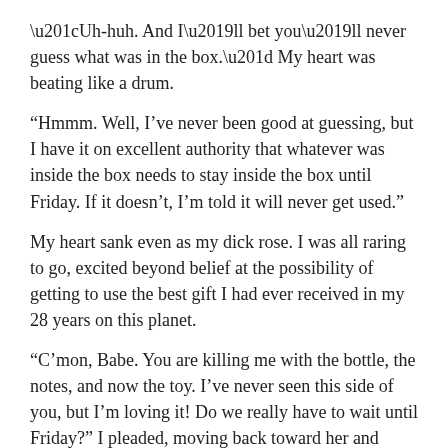“Uh-huh.  And I’ll bet you’ll never guess what was in the box.” My heart was beating like a drum.
“Hmmm. Well, I’ve never been good at guessing, but I have it on excellent authority that whatever was inside the box needs to stay inside the box until Friday.  If it doesn’t, I’m told it will never get used.”
My heart sank even as my dick rose. I was all raring to go, excited beyond belief at the possibility of getting to use the best gift I had ever received in my 28 years on this planet.
“C’mon, Babe.  You are killing me with the bottle, the notes, and now the toy. I’ve never seen this side of you, but I’m loving it!  Do we really have to wait until Friday?” I pleaded, moving back toward her and trying to wrap her up in my arms once again.  “I got off early; how about we have a warm-up session.”